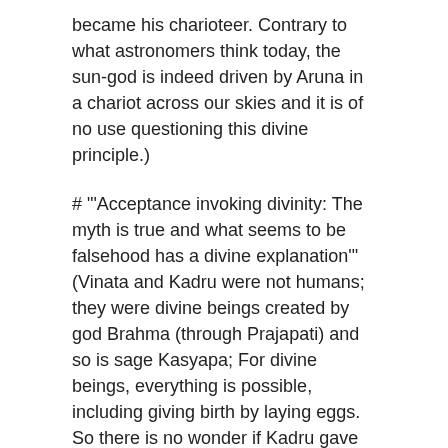became his charioteer. Contrary to what astronomers think today, the sun-god is indeed driven by Aruna in a chariot across our skies and it is of no use questioning this divine principle.)
# "'Acceptance invoking divinity: The myth is true and what seems to be falsehood has a divine explanation'" (Vinata and Kadru were not humans; they were divine beings created by god Brahma (through Prajapati) and so is sage Kasyapa; For divine beings, everything is possible, including giving birth by laying eggs. So there is no wonder if Kadru gave birth through 1000 snakes by laying thousand eggs and if Vinata gave birth to Aruna and Garuda by laying two divine eggs. Snakes were also divine; Some like Ananta and Vasuki were gods; Some like Takshaka and most other snakes became devious and dangerous; Garuda is a powerful god; Aruna was indeed born exactly as explained in the myth, as he too is a god and is capable of doing what he did and went to sun-god Surya to became his charioteer. Contrary to what astronomers think today, the sun-god is indeed driven by Aruna in a chariot